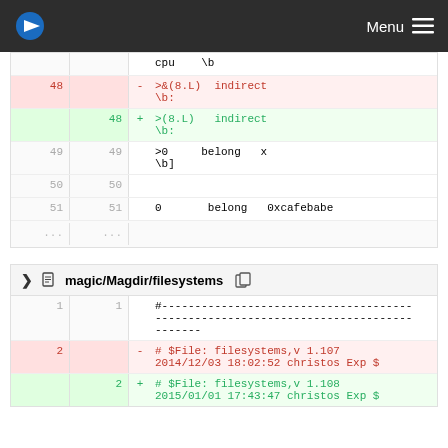Menu
| left_line | right_line | sign | code |
| --- | --- | --- | --- |
|  |  |  | cpu    \b |
| 48 |  | - | >&(8.L)  indirect \b: |
|  | 48 | + | >(8.L)   indirect \b: |
| 49 | 49 |  | >0     belong   x \b] |
| 50 | 50 |  |  |
| 51 | 51 |  | 0      belong   0xcafebabe |
| ... | ... |  |  |
magic/Magdir/filesystems
| left_line | right_line | sign | code |
| --- | --- | --- | --- |
| 1 | 1 |  | #--------------------------------------------- ------- |
| 2 |  | - | # $File: filesystems,v 1.107 2014/12/03 18:02:52 christos Exp $ |
|  | 2 | + | # $File: filesystems,v 1.108 2015/01/01 17:43:47 christos Exp $ |